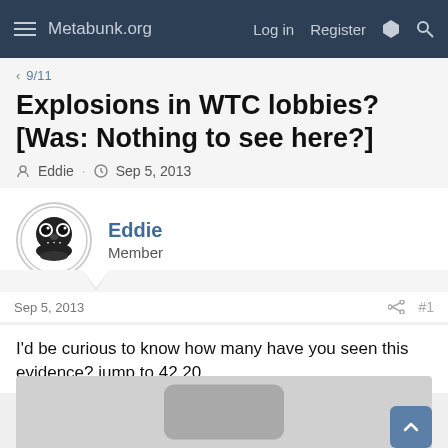Metabunk.org — Log in  Register
< 9/11
Explosions in WTC lobbies? [Was: Nothing to see here?]
Eddie · Sep 5, 2013
Eddie
Member
Sep 5, 2013  #1
I'd be curious to know how many have you seen this evidence? jump to 42.20
[Figure (photo): Partially visible embedded video/image showing a dark rounded rectangle shape on a light gray background]